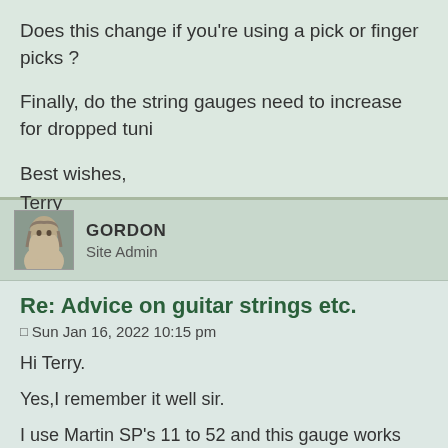Does this change if you're using a pick or finger picks ?
Finally, do the string gauges need to increase for dropped tuni
Best wishes,
Terry
GORDON
Site Admin
Re: Advice on guitar strings etc.
Sun Jan 16, 2022 10:15 pm
Hi Terry.
Yes,I remember it well sir.
I use Martin SP's 11 to 52 and this gauge works well all round tuning, at least I find it so. I have never used fingerpicks so can question, but my guess is all would be fine if you did.